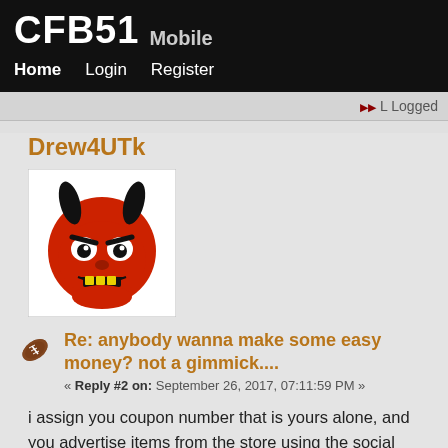CFB51 Mobile
Home  Login  Register
Logged
Drew4UTk
[Figure (illustration): Devil mascot avatar — red cartoon devil face with horns and an angry expression]
Re: anybody wanna make some easy money? not a gimmick....
« Reply #2 on: September 26, 2017, 07:11:59 PM »
i assign you coupon number that is yours alone, and you advertise items from the store using the social media share button found on the individual product page urging your users to apply the coupon code (so i can track who to pay for the